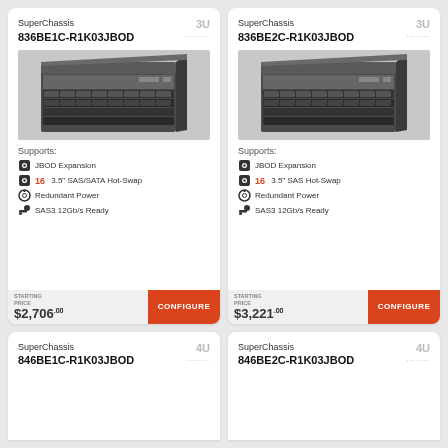SuperChassis 836BE1C-R1K03JBOD
[Figure (photo): Supermicro 3U server chassis with 16 drive bays, front-facing hot-swap drives visible]
Supports:
JBOD Expansion
16 3.5" SAS/SATA Hot-Swap
Redundant Power
SAS3 12Gb/s Ready
STARTING PRICE $2,706.00 CONFIGURE
SuperChassis 836BE2C-R1K03JBOD
[Figure (photo): Supermicro 3U server chassis with 16 drive bays, front-facing hot-swap drives visible]
Supports:
JBOD Expansion
16 3.5" SAS Hot-Swap
Redundant Power
SAS3 12Gb/s Ready
STARTING PRICE $3,221.00 CONFIGURE
SuperChassis 846BE1C-R1K03JBOD
SuperChassis 846BE2C-R1K03JBOD